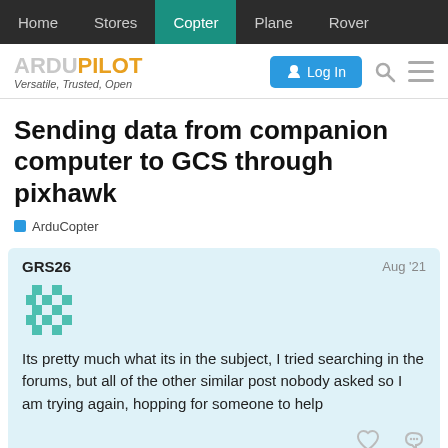Home | Stores | Copter | Plane | Rover
[Figure (logo): ArduPilot logo with tagline 'Versatile, Trusted, Open' and Log In button, search and menu icons]
Sending data from companion computer to GCS through pixhawk
ArduCopter
GRS26 Aug '21
Its pretty much what its in the subject, I tried searching in the forums, but all of the other similar post nobody asked so I am trying again, hopping for someone to help
created Aug '21 | last reply May 29 | 19 replies | 1 / 20